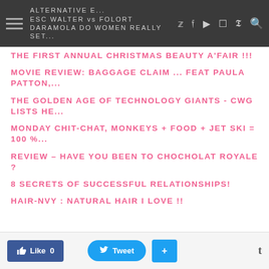ALTERNATIVE E... ESC WALTER vs FOLORT DARAMOLA DO WOMEN REALLY SET...
THE FIRST ANNUAL CHRISTMAS BEAUTY A'FAIR !!!
MOVIE REVIEW: BAGGAGE CLAIM ... FEAT PAULA PATTON,...
THE GOLDEN AGE OF TECHNOLOGY GIANTS - CWG LISTS HE...
MONDAY CHIT-CHAT, MONKEYS + FOOD + JET SKI = 100 %...
REVIEW – HAVE YOU BEEN TO CHOCHOLAT ROYALE ?
8 SECRETS OF SUCCESSFUL RELATIONSHIPS!
HAIR-NVY : NATURAL HAIR I LOVE !!
Like 0   Tweet   +   t